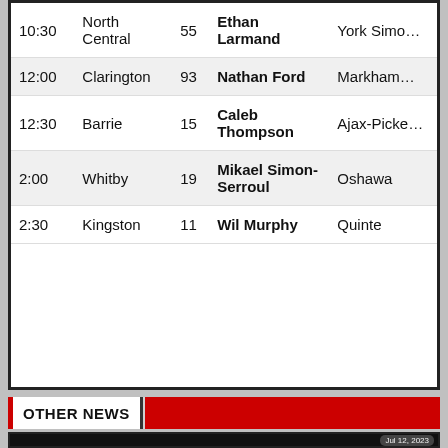| Time | Team | # | Player | Club |
| --- | --- | --- | --- | --- |
| 10:30 | North Central | 55 | Ethan Larmand | York Simo… |
| 12:00 | Clarington | 93 | Nathan Ford | Markham… |
| 12:30 | Barrie | 15 | Caleb Thompson | Ajax-Picke… |
| 2:00 | Whitby | 19 | Mikael Simon-Serroul | Oshawa |
| 2:30 | Kingston | 11 | Wil Murphy | Quinte |
OTHER NEWS